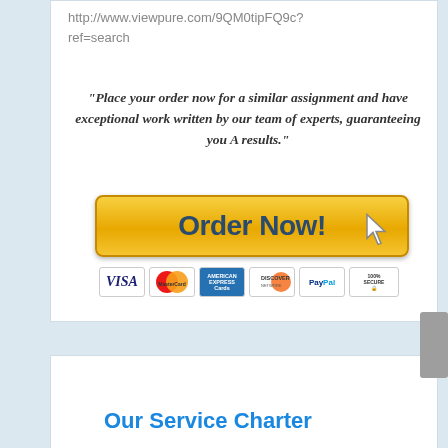http://www.viewpure.com/9QM0tipFQ9c?ref=search
"Place your order now for a similar assignment and have exceptional work written by our team of experts, guaranteeing you A results."
[Figure (infographic): Orange 'Order Now!' button with cursor arrow icon and payment icons below (VISA, MasterCard, American Express, Discover, PayPal, 100% Secure)]
Our Service Charter